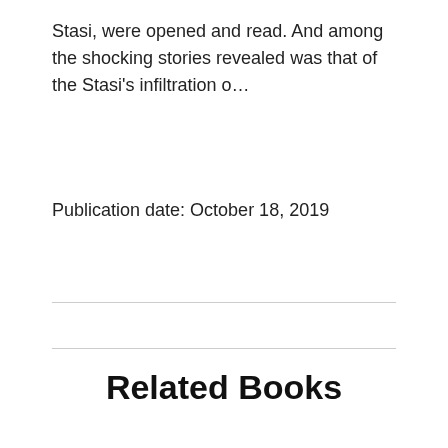Stasi, were opened and read. And among the shocking stories revealed was that of the Stasi's infiltration o…
Publication date: October 18, 2019
Related Books